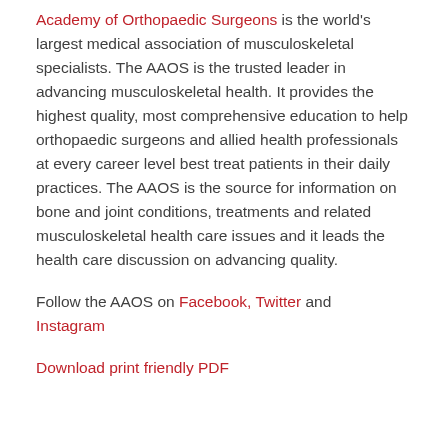Academy of Orthopaedic Surgeons is the world's largest medical association of musculoskeletal specialists. The AAOS is the trusted leader in advancing musculoskeletal health. It provides the highest quality, most comprehensive education to help orthopaedic surgeons and allied health professionals at every career level best treat patients in their daily practices. The AAOS is the source for information on bone and joint conditions, treatments and related musculoskeletal health care issues and it leads the health care discussion on advancing quality.
Follow the AAOS on Facebook, Twitter and Instagram
Download print friendly PDF